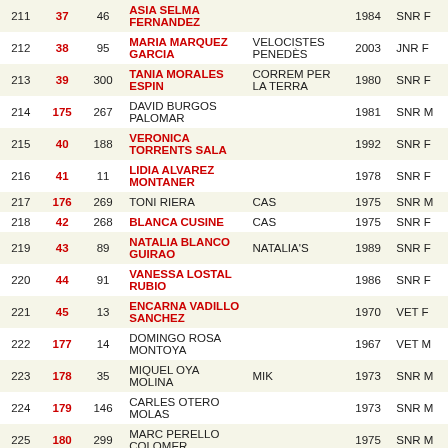| # | Cat | Bib | Name | Club | Year | Cat |
| --- | --- | --- | --- | --- | --- | --- |
| 211 | 37 | 46 | ASIA SELMA FERNANDEZ |  | 1984 | SNR F |
| 212 | 38 | 95 | MARIA MARQUEZ GARCIA | VELOCISTES PENEDÈS | 2003 | JNR F |
| 213 | 39 | 300 | TANIA MORALES ESPIN | CORREM PER LA TERRA | 1980 | SNR F |
| 214 | 175 | 267 | DAVID BURGOS PALOMAR |  | 1981 | SNR M |
| 215 | 40 | 188 | VERONICA TORRENTS SALA |  | 1992 | SNR F |
| 216 | 41 | 11 | LIDIA ALVAREZ MONTANER |  | 1978 | SNR F |
| 217 | 176 | 269 | TONI RIERA | CAS | 1975 | SNR M |
| 218 | 42 | 268 | BLANCA CUSINE | CAS | 1975 | SNR F |
| 219 | 43 | 89 | NATALIA BLANCO GUIRAO | NATALIA'S | 1989 | SNR F |
| 220 | 44 | 91 | VANESSA LOSTAL RUBIO |  | 1986 | SNR F |
| 221 | 45 | 13 | ENCARNA VADILLO SANCHEZ |  | 1970 | VET F |
| 222 | 177 | 14 | DOMINGO ROSA MONTOYA |  | 1967 | VET M |
| 223 | 178 | 35 | MIQUEL OYA MOLINA | MIK | 1973 | SNR M |
| 224 | 179 | 146 | CARLES OTERO MOLAS |  | 1973 | SNR M |
| 225 | 180 | 299 | MARC PERELLO COLOMER |  | 1975 | SNR M |
| 226 | 181 | 374 | JOAN BLANCH |  | 1965 | VET M |